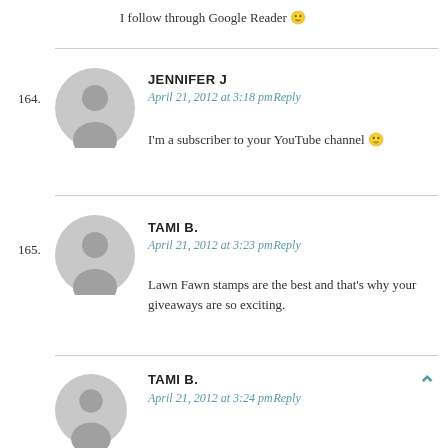I follow through Google Reader 🙂
JENNIFER J
April 21, 2012 at 3:18 pm Reply
164.
I'm a subscriber to your YouTube channel 🙂
TAMI B.
April 21, 2012 at 3:23 pm Reply
165.
Lawn Fawn stamps are the best and that's why your giveaways are so exciting.
TAMI B.
April 21, 2012 at 3:24 pm Reply